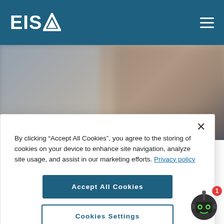[Figure (logo): EISA logo with text and triangle symbol on dark teal header background, with hamburger menu icon on right]
[Figure (photo): Blurred background hero image showing office/retail environment]
Talk to an advisor
By clicking “Accept All Cookies”, you agree to the storing of cookies on your device to enhance site navigation, analyze site usage, and assist in our marketing efforts. Privacy policy
Accept All Cookies
Cookies Settings